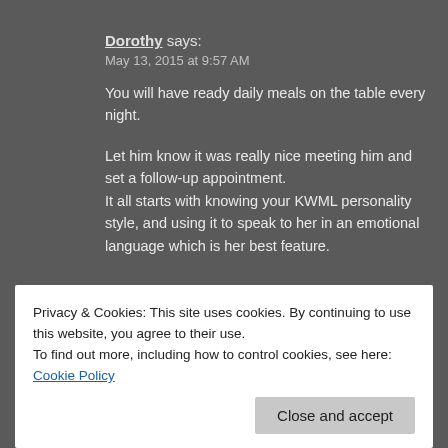Dorothy says:
May 13, 2015 at 9:57 AM
You will have ready daily meals on the table every night.

Let him know it was really nice meeting him and set a follow-up appointment.
It all starts with knowing your KWML personality style, and using it to speak to her in an emotional language which is her best feature.
★ Like
Privacy & Cookies: This site uses cookies. By continuing to use this website, you agree to their use.
To find out more, including how to control cookies, see here: Cookie Policy
Close and accept
This article will help the internet users for